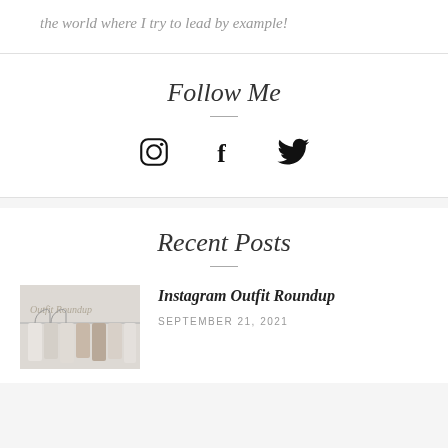the world where I try to lead by example!
Follow Me
[Figure (illustration): Social media icons: Instagram, Facebook, Twitter]
Recent Posts
[Figure (photo): Outfit Roundup thumbnail showing clothes on hangers]
Instagram Outfit Roundup
SEPTEMBER 21, 2021